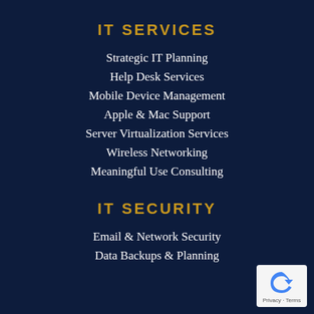IT SERVICES
Strategic IT Planning
Help Desk Services
Mobile Device Management
Apple & Mac Support
Server Virtualization Services
Wireless Networking
Meaningful Use Consulting
IT SECURITY
Email & Network Security
Data Backups & Planning
[Figure (logo): reCAPTCHA privacy badge with circular arrow icon and Privacy - Terms text]